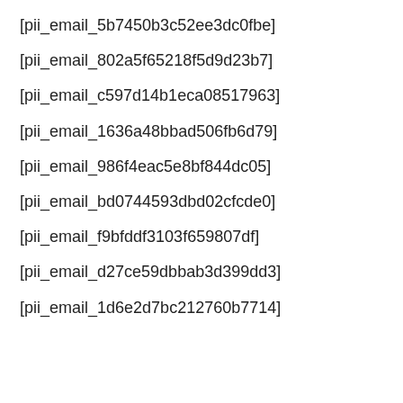[pii_email_5b7450b3c52ee3dc0fbe]
[pii_email_802a5f65218f5d9d23b7]
[pii_email_c597d14b1eca08517963]
[pii_email_1636a48bbad506fb6d79]
[pii_email_986f4eac5e8bf844dc05]
[pii_email_bd0744593dbd02cfcde0]
[pii_email_f9bfddf3103f659807df]
[pii_email_d27ce59dbbab3d399dd3]
[pii_email_1d6e2d7bc212760b7714]